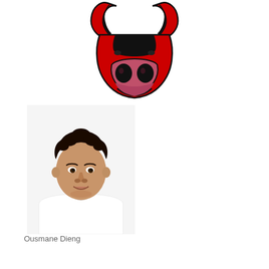[Figure (logo): Chicago Bulls NBA team logo - red bull head facing down with black outlines on white background]
[Figure (photo): Headshot photo of NBA player Ousmane Dieng, young man with curly dark hair wearing a white jersey]
Ousmane Dieng